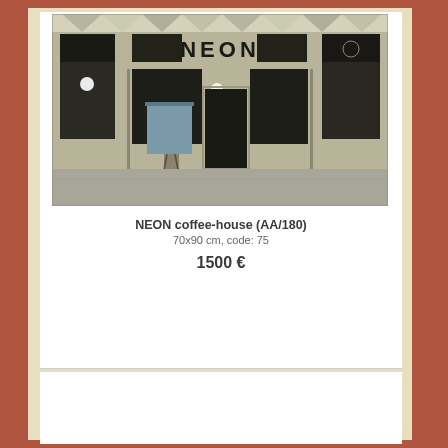[Figure (photo): Painting of a coffee-house storefront with 'NEON' sign above the entrance, showing large dark windows, a door, and street-level view in muted, earthy tones.]
NEON coffee-house (AA/180)
70x90 cm, code: 75
1500 €